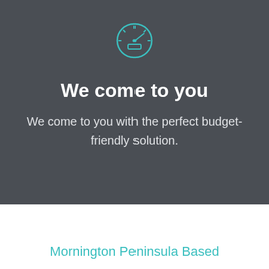[Figure (illustration): Teal outline icon of a speedometer/dashboard gauge with a needle pointing to the right and a rectangular display below it]
We come to you
We come to you with the perfect budget-friendly solution.
Mornington Peninsula Based